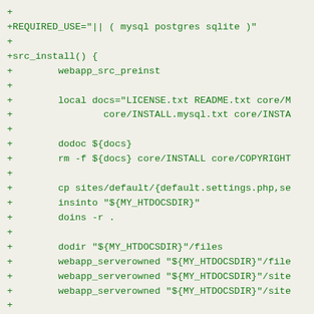+
+REQUIRED_USE="|| ( mysql postgres sqlite )"
+
+src_install() {
+        webapp_src_preinst
+
+        local docs="LICENSE.txt README.txt core/M
+                core/INSTALL.mysql.txt core/INSTA
+
+        dodoc ${docs}
+        rm -f ${docs} core/INSTALL core/COPYRIGHT
+
+        cp sites/default/{default.settings.php,se
+        insinto "${MY_HTDOCSDIR}"
+        doins -r .
+
+        dodir "${MY_HTDOCSDIR}"/files
+        webapp_serverowned "${MY_HTDOCSDIR}"/file
+        webapp_serverowned "${MY_HTDOCSDIR}"/site
+        webapp_serverowned "${MY_HTDOCSDIR}"/site
+
+        webapp_configfile "${MY_HTDOCSDIR}"/sites